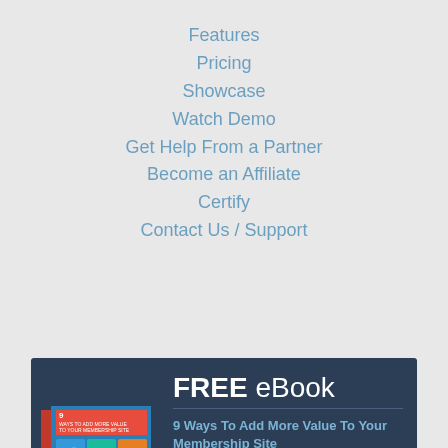Features
Pricing
Showcase
Watch Demo
Get Help From a Partner
Become an Affiliate
Certify
Contact Us / Support
[Figure (infographic): FREE eBook promotional banner with book cover image. Title: FREE eBook. Subtitle: 9 Ways To Add More Value To Your Membership Site Without Having to Create More Content.... Button: DOWNLOAD NOW FOR FREE]